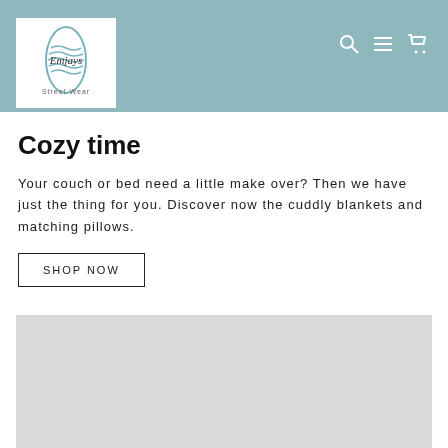[Figure (logo): Emjays Street Wear logo — surfboard shape with wave pattern and script text on white background]
[Figure (other): Navigation icons: search magnifying glass, hamburger menu, shopping cart — in white on teal background]
Cozy time
Your couch or bed need a little make over? Then we have just the thing for you. Discover now the cuddly blankets and matching pillows.
SHOP NOW
[Figure (photo): Large gray placeholder image area at the bottom of the page]